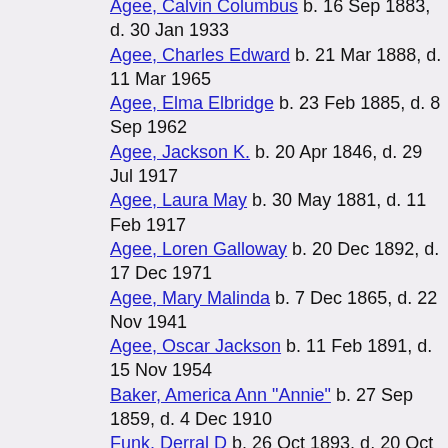Agee, Calvin Columbus  b. 16 Sep 1883, d. 30 Jan 1933
Agee, Charles Edward  b. 21 Mar 1888, d. 11 Mar 1965
Agee, Elma Elbridge  b. 23 Feb 1885, d. 8 Sep 1962
Agee, Jackson K.  b. 20 Apr 1846, d. 29 Jul 1917
Agee, Laura May  b. 30 May 1881, d. 11 Feb 1917
Agee, Loren Galloway  b. 20 Dec 1892, d. 17 Dec 1971
Agee, Mary Malinda  b. 7 Dec 1865, d. 22 Nov 1941
Agee, Oscar Jackson  b. 11 Feb 1891, d. 15 Nov 1954
Baker, America Ann "Annie"  b. 27 Sep 1859, d. 4 Dec 1910
Funk, Derral D  b. 26 Oct 1893, d. 20 Oct 1927
Funk, Ivan C  b. 27 Dec 1887, d. 8 Sep 1945
Funk, John Samuel  b. 19 Jul 1857, d. 16 Nov 1935
Funk, Mildred  b. 15 Feb 1898, d. ...